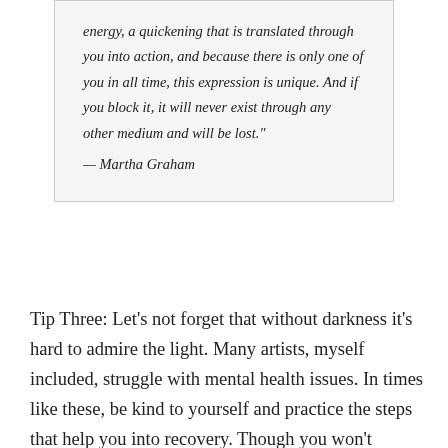energy, a quickening that is translated through you into action, and because there is only one of you in all time, this expression is unique. And if you block it, it will never exist through any other medium and will be lost." — Martha Graham
Tip Three: Let's not forget that without darkness it's hard to admire the light. Many artists, myself included, struggle with mental health issues. In times like these, be kind to yourself and practice the steps that help you into recovery. Though you won't appreciate it at the time, our art is often made stronger for our empathy and